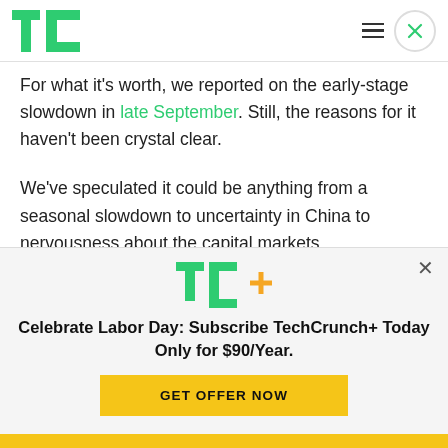TechCrunch logo, menu icon, close button
For what it’s worth, we reported on the early-stage slowdown in late September. Still, the reasons for it haven’t been crystal clear.
We’ve speculated it could be anything from a seasonal slowdown to uncertainty in China to nervousness about the capital markets.
[Figure (screenshot): TechCrunch+ subscription promotional overlay with TC+ logo, headline 'Celebrate Labor Day: Subscribe TechCrunch+ Today Only for $90/Year.' and a yellow GET OFFER NOW button]
Celebrate Labor Day: Subscribe TechCrunch+ Today Only for $90/Year.
GET OFFER NOW